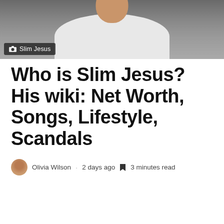[Figure (photo): Photo of Slim Jesus, a young man in a white hoodie against a dark background, with a camera icon and caption 'Slim Jesus' overlaid at bottom left]
Who is Slim Jesus? His wiki: Net Worth, Songs, Lifestyle, Scandals
Olivia Wilson · 2 days ago · 3 minutes read